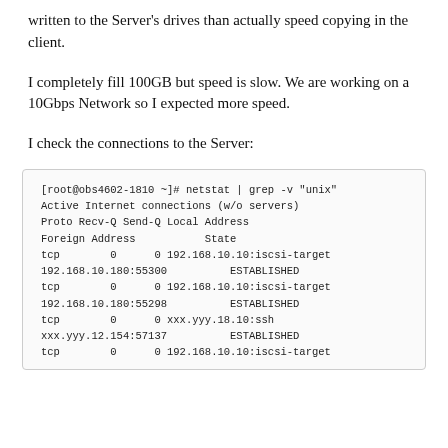written to the Server's drives than actually speed copying in the client.
I completely fill 100GB but speed is slow. We are working on a 10Gbps Network so I expected more speed.
I check the connections to the Server:
[Figure (screenshot): Terminal output showing netstat command results with TCP connections to iscsi-target and ssh, all ESTABLISHED state. Command: [root@obs4602-1810 ~]# netstat | grep -v "unix". Shows Active Internet connections (w/o servers) with Proto, Recv-Q, Send-Q, Local Address, Foreign Address, State columns. Multiple tcp connections listed with 192.168.10.10:iscsi-target and 192.168.10.180 ports, and xxx.yyy addresses.]